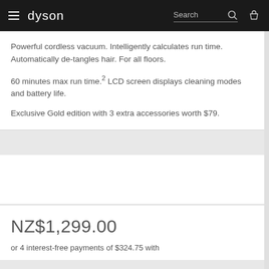dyson — Search
Powerful cordless vacuum. Intelligently calculates run time. Automatically de-tangles hair. For all floors.
60 minutes max run time.² LCD screen displays cleaning modes and battery life.
Exclusive Gold edition with 3 extra accessories worth $79.
NZ$1,299.00
or 4 interest-free payments of $324.75 with